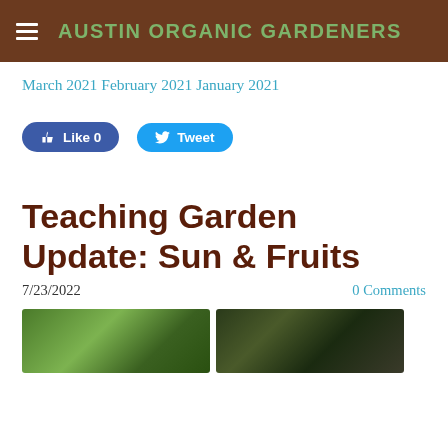AUSTIN ORGANIC GARDENERS
March 2021
February 2021
January 2021
[Figure (screenshot): Facebook Like button (Like 0) and Twitter Tweet button]
Teaching Garden Update: Sun & Fruits
7/23/2022    0 Comments
[Figure (photo): Two garden photos side by side at bottom of page]